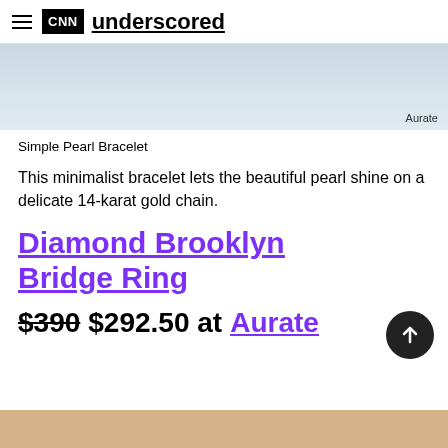CNN underscored
[Figure (photo): Partial view of a pearl bracelet on a wrist against a light background]
Aurate
Simple Pearl Bracelet
This minimalist bracelet lets the beautiful pearl shine on a delicate 14-karat gold chain.
Diamond Brooklyn Bridge Ring
$390 $292.50 at Aurate
[Figure (photo): Bottom portion of a product image with a warm beige/tan background]